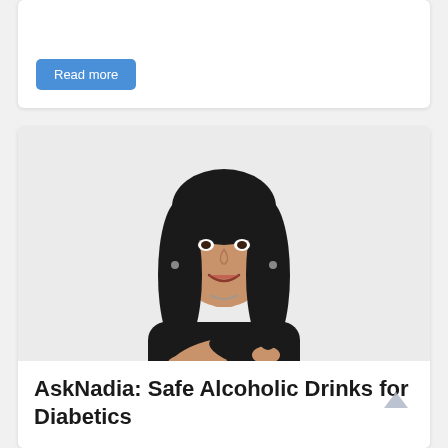Read more
[Figure (photo): Professional headshot of a woman with dark hair and bangs, wearing a black outfit, arms crossed, smiling against a light background]
AskNadia: Safe Alcoholic Drinks for Diabetics